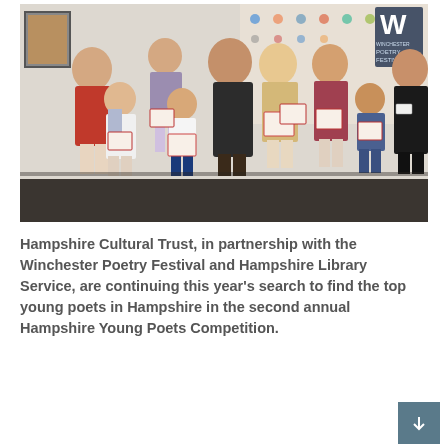[Figure (photo): Group photo of adults and children holding certificates, standing in front of a Winchester Poetry Festival banner/display board. Adults include two women on the left and one person on the right in a dark blazer. Several children of various ages hold award certificates.]
Hampshire Cultural Trust, in partnership with the Winchester Poetry Festival and Hampshire Library Service, are continuing this year’s search to find the top young poets in Hampshire in the second annual Hampshire Young Poets Competition.